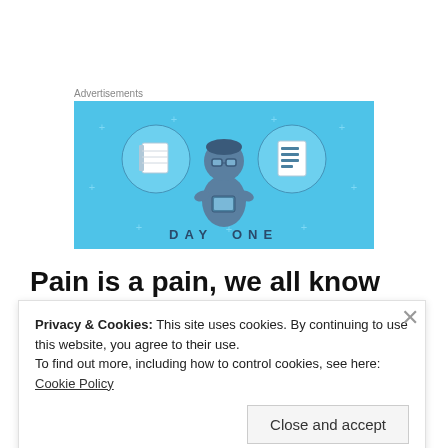Advertisements
[Figure (illustration): Day One app advertisement banner with light blue background showing a person looking at a phone flanked by two circular icons with notebook and list, with text DAY ONE at the bottom]
Pain is a pain, we all know that! But how far do you go to get rid of it?
Privacy & Cookies: This site uses cookies. By continuing to use this website, you agree to their use.
To find out more, including how to control cookies, see here: Cookie Policy
Close and accept